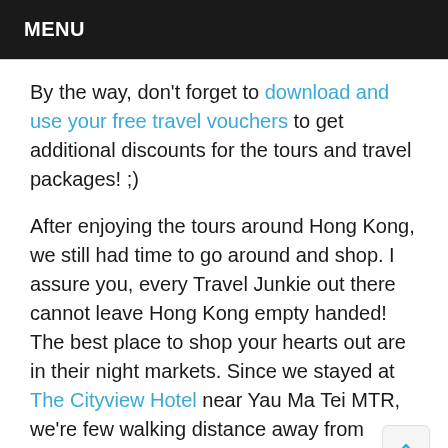MENU
By the way, don't forget to download and use your free travel vouchers to get additional discounts for the tours and travel packages! ;)
After enjoying the tours around Hong Kong, we still had time to go around and shop. I assure you, every Travel Junkie out there cannot leave Hong Kong empty handed! The best place to shop your hearts out are in their night markets. Since we stayed at The Cityview Hotel near Yau Ma Tei MTR, we're few walking distance away from Ladies Market in Mongkok.